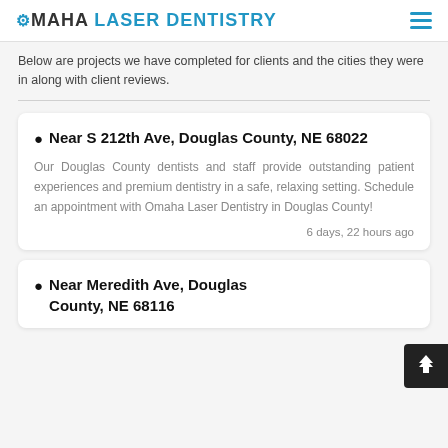OMAHA LASER DENTISTRY
Below are projects we have completed for clients and the cities they were in along with client reviews.
Near S 212th Ave, Douglas County, NE 68022
Our Douglas County dentists and staff provide outstanding patient experiences and premium dentistry in a safe, relaxing setting. Schedule an appointment with Omaha Laser Dentistry in Douglas County!
6 days, 22 hours ago
Near Meredith Ave, Douglas County, NE 68116